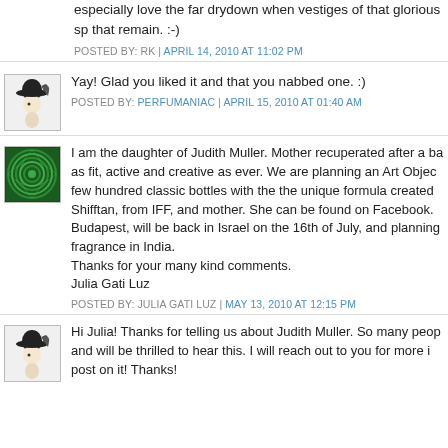especially love the far drydown when vestiges of that glorious sp... that remain. :-)
POSTED BY: RK | APRIL 14, 2010 AT 11:02 PM
[Figure (illustration): Avatar icon of a stylized woman with a feathered hat, black and white illustration]
Yay! Glad you liked it and that you nabbed one. :)
POSTED BY: PERFUMANIAC | APRIL 15, 2010 AT 01:40 AM
[Figure (illustration): Green spiral/swirl pattern avatar]
I am the daughter of Judith Muller. Mother recuperated after a ba... as fit, active and creative as ever. We are planning an Art Objec... few hundred classic bottles with the the unique formula created... Shifftan, from IFF, and mother. She can be found on Facebook.... Budapest, will be back in Israel on the 16th of July, and planning... fragrance in India.
Thanks for your many kind comments.
Julia Gati Luz
POSTED BY: JULIA GATI LUZ | MAY 13, 2010 AT 12:15 PM
[Figure (illustration): Avatar icon of a stylized woman with a feathered hat, black and white illustration]
Hi Julia! Thanks for telling us about Judith Muller. So many peop... and will be thrilled to hear this. I will reach out to you for more i... post on it! Thanks!